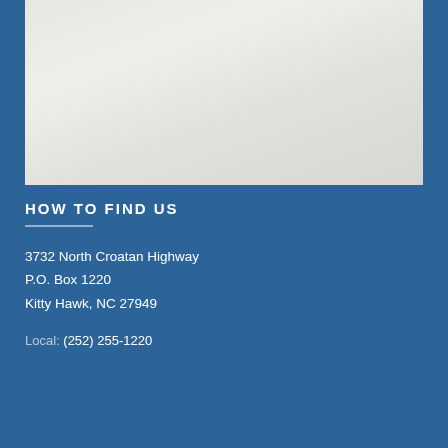[Figure (map): A map image showing a geographic area with light beige/gray tones, partially visible at the top of the page.]
HOW TO FIND US
3732 North Croatan Highway
P.O. Box 1220
Kitty Hawk, NC 27949
Local: (252) 255-1220